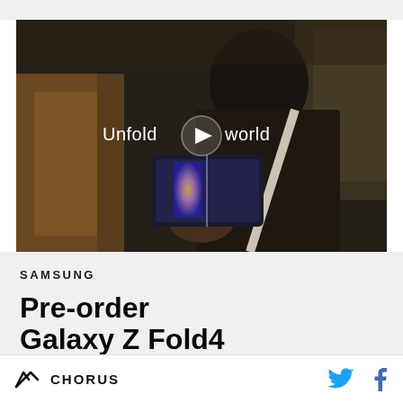[Figure (screenshot): Dark cinematic video thumbnail showing a woman in a car holding up a Samsung Galaxy Z Fold4 phone toward the camera. White text overlay reads 'Unfold your world' with a play button icon in the center.]
SAMSUNG
Pre-order Galaxy Z Fold4
CHORUS | Twitter | Facebook